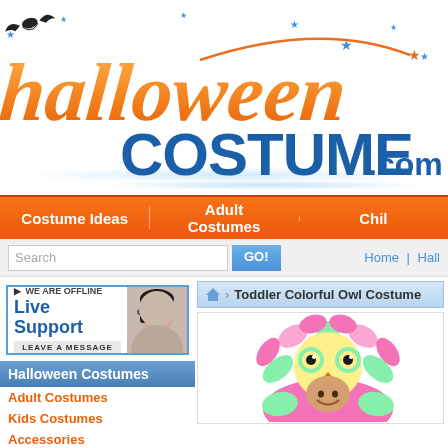[Figure (logo): HalloweenCOSTUME.com logo with orange cursive 'halloween' text and blue bold 'COSTUME.com', bat silhouette, stars]
Costume Ideas | Adult Costumes | Chi...
Search  GO!  Home | Hall...
[Figure (photo): Live Support banner - WE ARE OFFLINE, Live Support, LEAVE A MESSAGE, photo of woman with headset]
Halloween Costumes
Adult Costumes
Kids Costumes
Accessories
Pet Costumes
Halloween Costume Ideas
Animal and Bug Costumes
Toddler Colorful Owl Costume
[Figure (photo): Toddler wearing a colorful pink and green owl costume with large eyes and flower petals around face, smiling]